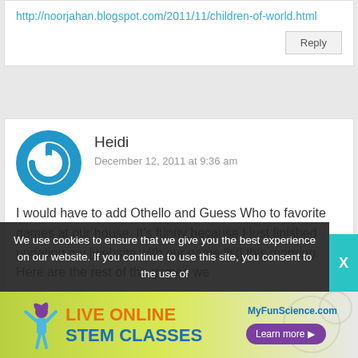http://noorjahan.blogspot.com/2011/11/children-of-world.html
Reply
Heidi
December 12, 2011 at 9:36 am
[Figure (illustration): Blue circular power button avatar icon]
I would have to add Othello and Guess Who to favorite games at our house. It's funny because I just finished updating my [website with our game list] this morning. Here are the rest of the games we
We use cookies to ensure that we give you the best experience on our website. If you continue to use this site, you consent to the use of
[Figure (infographic): Advertisement banner: LIVE ONLINE STEM CLASSES - MyFunScience.com - Learn more button, with illustrated girl figure on green background]